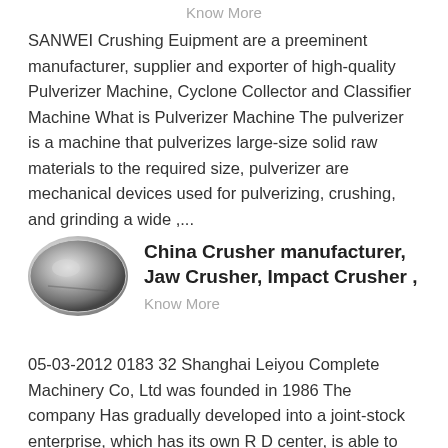Know More
SANWEI Crushing Euipment are a preeminent manufacturer, supplier and exporter of high-quality Pulverizer Machine, Cyclone Collector and Classifier Machine What is Pulverizer Machine The pulverizer is a machine that pulverizes large-size solid raw materials to the required size, pulverizer are mechanical devices used for pulverizing, crushing, and grinding a wide ,...
[Figure (photo): Oval/circular product image showing a metallic crusher component with reflective surface]
China Crusher manufacturer, Jaw Crusher, Impact Crusher ,
Know More
05-03-2012 0183 32 Shanghai Leiyou Complete Machinery Co, Ltd was founded in 1986 The company Has gradually developed into a joint-stock enterprise, which has its own R D center, is able to produce large-sized complete crushing machinery, and provide